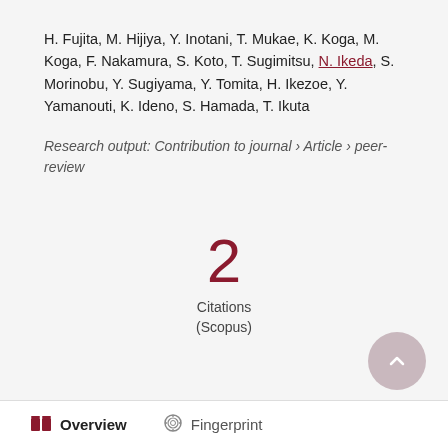H. Fujita, M. Hijiya, Y. Inotani, T. Mukae, K. Koga, M. Koga, F. Nakamura, S. Koto, T. Sugimitsu, N. Ikeda, S. Morinobu, Y. Sugiyama, Y. Tomita, H. Ikezoe, Y. Yamanouti, K. Ideno, S. Hamada, T. Ikuta
Research output: Contribution to journal › Article › peer-review
2
Citations
(Scopus)
Overview   Fingerprint